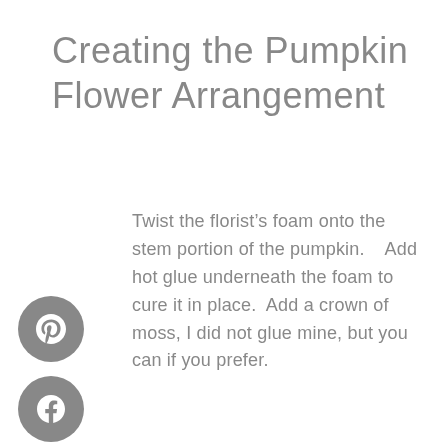Creating the Pumpkin Flower Arrangement
Twist the florist’s foam onto the stem portion of the pumpkin.   Add hot glue underneath the foam to cure it in place.  Add a crown of moss, I did not glue mine, but you can if you prefer.